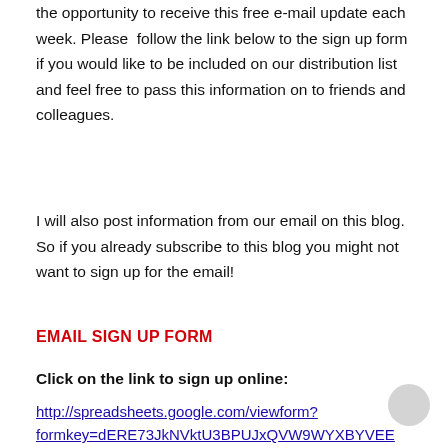the opportunity to receive this free e-mail update each week. Please follow the link below to the sign up form if you would like to be included on our distribution list and feel free to pass this information on to friends and colleagues.
I will also post information from our email on this blog. So if you already subscribe to this blog you might not want to sign up for the email!
EMAIL SIGN UP FORM
Click on the link to sign up online:
http://spreadsheets.google.com/viewform?formkey=dERE73JkNVktU3BPUJxQVW9WYXBYVEE